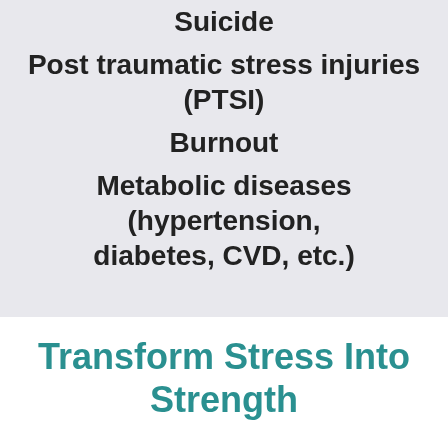Suicide
Post traumatic stress injuries (PTSI)
Burnout
Metabolic diseases (hypertension, diabetes, CVD, etc.)
Transform Stress Into Strength
Staying physically and mentally fit for a job as demanding as firefighting needs a comprehensive approach that doesn't require